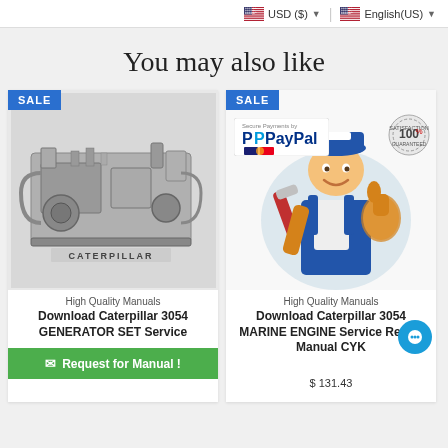USD ($) ▼  |  English(US) ▼
You may also like
[Figure (screenshot): Product card with SALE badge showing Caterpillar 3054 generator set engine in grayscale photo, with brand text 'High Quality Manuals', title 'Download Caterpillar 3054 GENERATOR SET Service', and green 'Request for Manual!' button]
[Figure (screenshot): Product card with SALE badge showing a cartoon mechanic holding a wrench with PayPal secure payments badge and 100% satisfaction guarantee badge, brand text 'High Quality Manuals', title 'Download Caterpillar 3054 MARINE ENGINE Service Repair Manual CYK', price $131.43, with chat bubble icon]